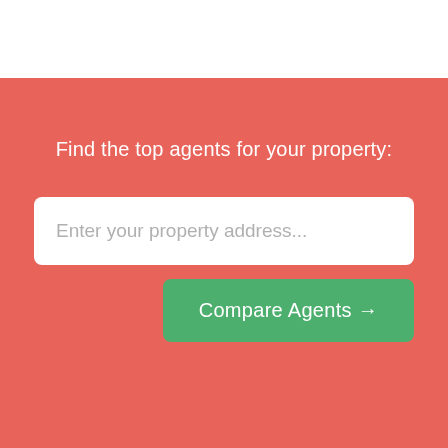Find the top agents for your property:
Enter your property address...
Compare Agents →